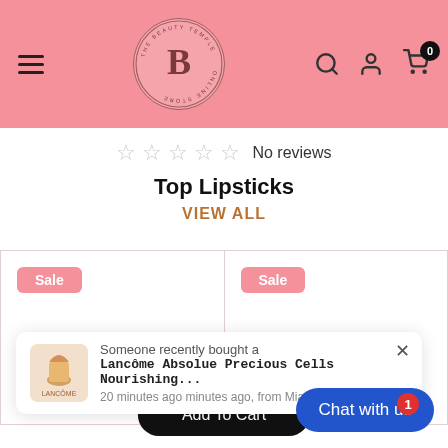[Figure (screenshot): Pink header bar with hamburger menu icon on left, circular B logo in center, search/user/cart icons on right]
☆ ☆ ☆ ☆ ☆ No reviews
Top Lipsticks
VIEW ALL
[Figure (photo): Product card with 'Sale' badge and a peach/nude lipstick bullet]
[Figure (photo): Product card with 'Sale' badge and a pink lipstick bullet]
[Figure (screenshot): Popup notification: Someone recently bought a Lancôme Absolue Precious Cells Nourishing... 20 minutes ago minutes ago, from Mianwali, Pak... with product image]
Add To Cart
Chat with us